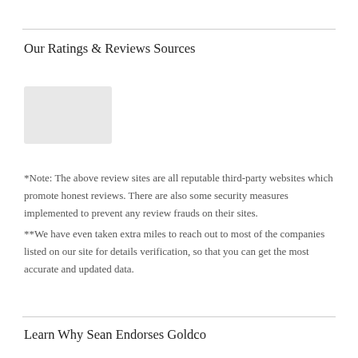Our Ratings & Reviews Sources
[Figure (illustration): Faded/greyed out logo or image placeholder for review sources]
*Note: The above review sites are all reputable third-party websites which promote honest reviews. There are also some security measures implemented to prevent any review frauds on their sites.
**We have even taken extra miles to reach out to most of the companies listed on our site for details verification, so that you can get the most accurate and updated data.
Learn Why Sean Endorses Goldco